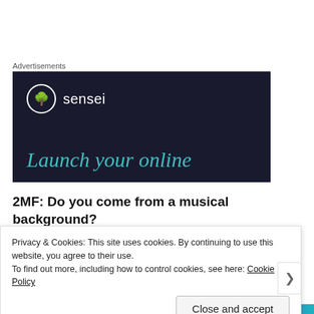Advertisements
[Figure (illustration): Dark navy advertisement banner for 'sensei' brand showing a logo circle with a tree icon, brand name 'sensei', and the beginning of a tagline 'Launch your online' in teal italic text.]
2MF: Do you come from a musical background?
HBH: Not really. Neither of my parents play now, but my dad used to play the piano when he was my age, and my mum played the flute and saxophone when she was younger.
Privacy & Cookies: This site uses cookies. By continuing to use this website, you agree to their use.
To find out more, including how to control cookies, see here: Cookie Policy
Close and accept